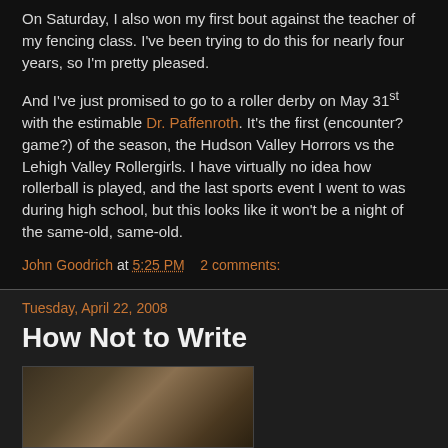On Saturday, I also won my first bout against the teacher of my fencing class. I've been trying to do this for nearly four years, so I'm pretty pleased.
And I've just promised to go to a roller derby on May 31st with the estimable Dr. Paffenroth. It's the first (encounter? game?) of the season, the Hudson Valley Horrors vs the Lehigh Valley Rollergirls. I have virtually no idea how rollerball is played, and the last sports event I went to was during high school, but this looks like it won't be a night of the same-old, same-old.
John Goodrich at 5:25 PM   2 comments:
Tuesday, April 22, 2008
How Not to Write
[Figure (photo): Partially visible photo at bottom of page, brownish tones]